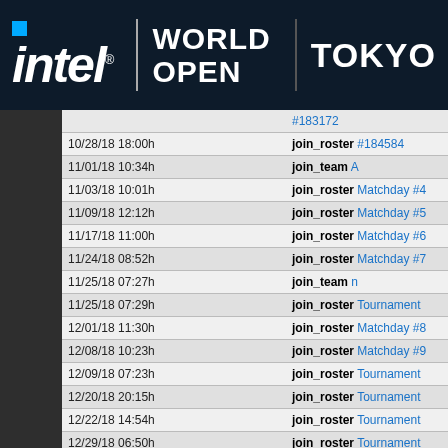intel. WORLD OPEN | TOKYO
| Date |  | Action |
| --- | --- | --- |
|  |  | #183172 |
| 10/28/18 18:00h |  | join_roster #184584 |
| 11/01/18 10:34h |  | join_team A |
| 11/03/18 10:01h |  | join_roster Matchday #4 |
| 11/09/18 12:12h |  | join_roster Matchday #5 |
| 11/17/18 11:00h |  | join_roster Matchday #6 |
| 11/24/18 08:52h |  | join_roster Matchday #7 |
| 11/25/18 07:27h |  | join_team n |
| 11/25/18 07:29h |  | join_roster Tournament |
| 12/01/18 11:30h |  | join_roster Matchday #8 |
| 12/08/18 10:23h |  | join_roster Matchday #9 |
| 12/09/18 07:23h |  | join_roster Tournament |
| 12/20/18 20:15h |  | join_roster Tournament |
| 12/22/18 14:54h |  | join_roster Tournament |
| 12/29/18 06:50h |  | join_roster Tournament |
| 01/08/19 11:29h |  | join_roster |